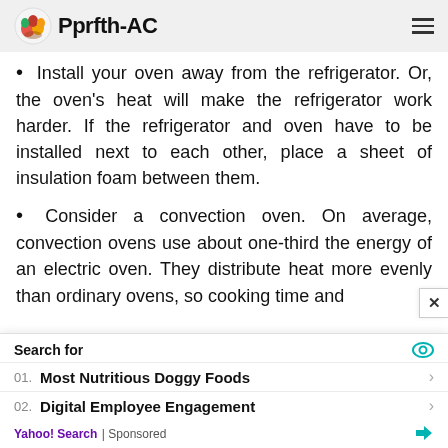Pprfth-AC
Install your oven away from the refrigerator. Or, the oven’s heat will make the refrigerator work harder. If the refrigerator and oven have to be installed next to each other, place a sheet of insulation foam between them.
Consider a convection oven. On average, convection ovens use about one-third the energy of an electric oven. They distribute heat more evenly than ordinary ovens, so cooking time and
Search for
01.  Most Nutritious Doggy Foods
02.  Digital Employee Engagement
Yahoo! Search | Sponsored